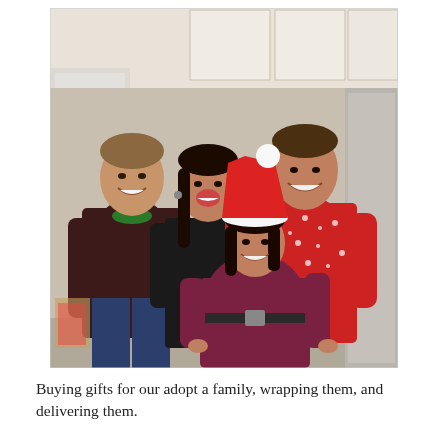[Figure (photo): Four people posing together in a kitchen setting. Two men and two women smiling at the camera. The man on the left wears a dark maroon henley with a green undershirt and jeans. The woman in the center-left wears a black top. The man on the right wears a red Christmas sweater with snowflake pattern. A woman in front wears a burgundy/maroon outfit and a Santa hat.]
Buying gifts for our adopt a family, wrapping them, and delivering them.